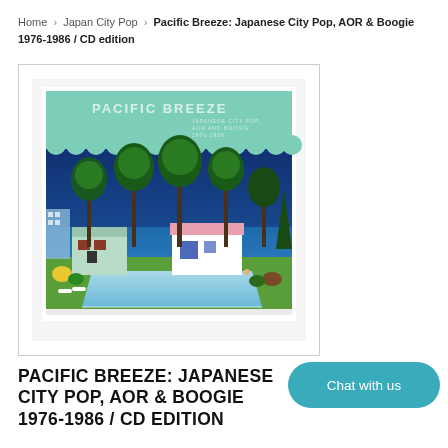Home > Japan City Pop > Pacific Breeze: Japanese City Pop, AOR & Boogie 1976-1986 / CD edition
[Figure (photo): Album cover for Pacific Breeze: Japanese City Pop, AOR & Boogie 1976-1986 / CD edition. Shows a stylized illustration of a California-style scene with palm trees, pastel-colored houses, a swimming pool, and ocean in the background under a deep blue sky. A mint green scalloped awning at the top reads PACIFIC BREEZE in white text.]
PACIFIC BREEZE: JAPANESE CITY POP, AOR & BOOGIE 1976-1986 / CD EDITION